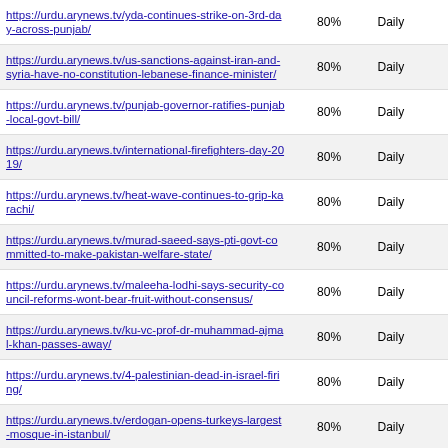| URL | Percentage | Frequency |
| --- | --- | --- |
| https://urdu.arynews.tv/yda-continues-strike-on-3rd-day-across-punjab/ | 80% | Daily |
| https://urdu.arynews.tv/us-sanctions-against-iran-and-syria-have-no-constitution-lebanese-finance-minister/ | 80% | Daily |
| https://urdu.arynews.tv/punjab-governor-ratifies-punjab-local-govt-bill/ | 80% | Daily |
| https://urdu.arynews.tv/international-firefighters-day-2019/ | 80% | Daily |
| https://urdu.arynews.tv/heat-wave-continues-to-grip-karachi/ | 80% | Daily |
| https://urdu.arynews.tv/murad-saeed-says-pti-govt-committed-to-make-pakistan-welfare-state/ | 80% | Daily |
| https://urdu.arynews.tv/maleeha-lodhi-says-security-council-reforms-wont-bear-fruit-without-consensus/ | 80% | Daily |
| https://urdu.arynews.tv/ku-vc-prof-dr-muhammad-ajmal-khan-passes-away/ | 80% | Daily |
| https://urdu.arynews.tv/4-palestinian-dead-in-israel-firing/ | 80% | Daily |
| https://urdu.arynews.tv/erdogan-opens-turkeys-largest-mosque-in-istanbul/ | 80% | Daily |
| https://urdu.arynews.tv/citizens-are-calling-to-pm-uk-step-down/ | 80% | Daily |
| https://urdu.arynews.tv/saudi-economy-is-become-comfortable/ | 80% | Daily |
| https://urdu.arynews.tv/seven-migrants-dead-due-to-boat-sink/ | 80% | Daily |